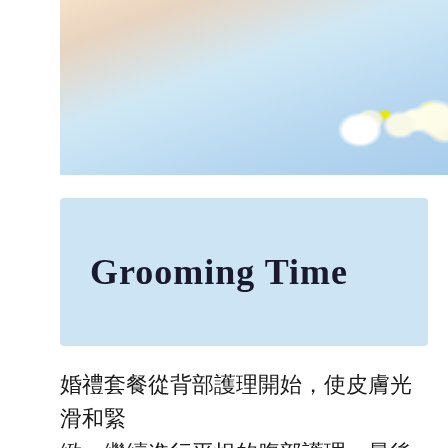[Figure (photo): Spa/grooming photo showing a person lying down with white frangipani flowers, soft blue and warm tones, top portion of a spa scene.]
Grooming Time
婚禮套餐從背部護理開始，使皮膚光滑和緊緻，繼續進行平坦的腹部護理，最後以AYANA面部護理結束；使用大自然的最佳成